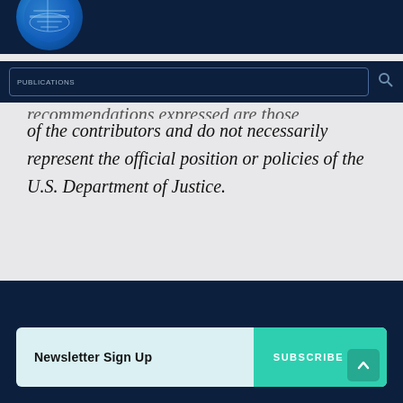[Figure (logo): Circular blue government seal/logo, partially cropped at top-left corner]
PUBLICATIONS
of the contributors and do not necessarily represent the official position or policies of the U.S. Department of Justice.
Newsletter Sign Up  SUBSCRIBE